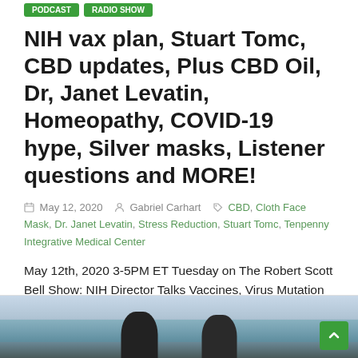NIH vax plan, Stuart Tomc, CBD updates, Plus CBD Oil, Dr, Janet Levatin, Homeopathy, COVID-19 hype, Silver masks, Listener questions and MORE!
May 12, 2020  Gabriel Carhart  CBD, Cloth Face Mask, Dr. Janet Levatin, Stress Reduction, Stuart Tomc, Tenpenny Integrative Medical Center
May 12th, 2020 3-5PM ET Tuesday on The Robert Scott Bell Show: NIH Director Talks Vaccines, Virus Mutation and Clinical
Read more
[Figure (photo): Two people talking on a beach, ocean visible in background]